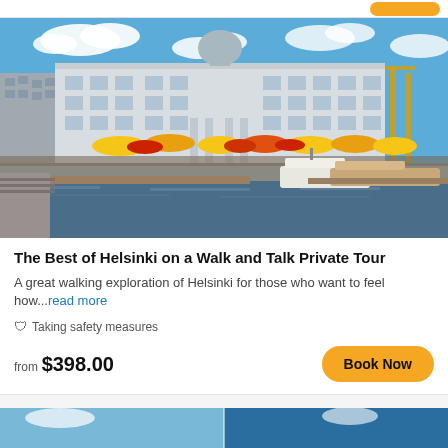[Figure (photo): Helsinki harbor waterfront scene with white neoclassical building (Helsinki City Hall), colorful market umbrellas in yellow and red, crowds of people, boats moored at the dock, and blue sky with clouds]
The Best of Helsinki on a Walk and Talk Private Tour
A great walking exploration of Helsinki for those who want to feel how...read more
Taking safety measures
from $398.00
[Figure (photo): Partial view of another tour listing photo at the bottom of the page]